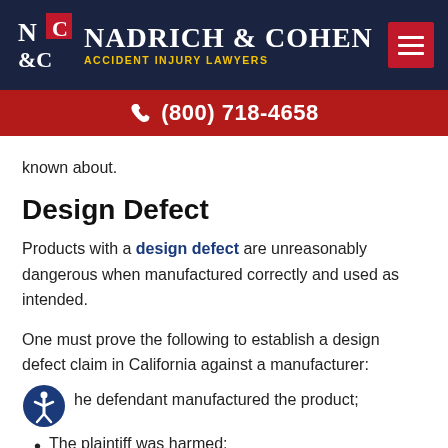Nadrich & Cohen Accident Injury Lawyers | (800) 718-4658
known about.
Design Defect
Products with a design defect are unreasonably dangerous when manufactured correctly and used as intended.
One must prove the following to establish a design defect claim in California against a manufacturer:
The defendant manufactured the product;
The plaintiff was harmed;